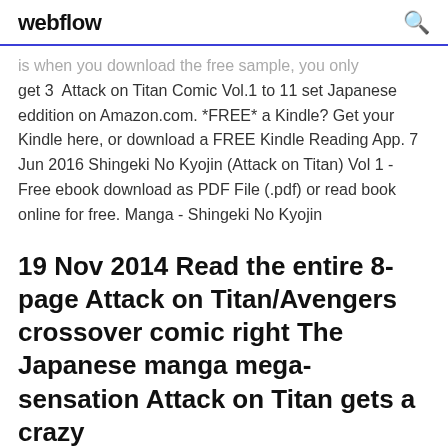webflow
is when you download the free sample, you only get 3  Attack on Titan Comic Vol.1 to 11 set Japanese eddition on Amazon.com. *FREE* a Kindle? Get your Kindle here, or download a FREE Kindle Reading App. 7 Jun 2016 Shingeki No Kyojin (Attack on Titan) Vol 1 - Free ebook download as PDF File (.pdf) or read book online for free. Manga - Shingeki No Kyojin
19 Nov 2014 Read the entire 8-page Attack on Titan/Avengers crossover comic right The Japanese manga mega-sensation Attack on Titan gets a crazy